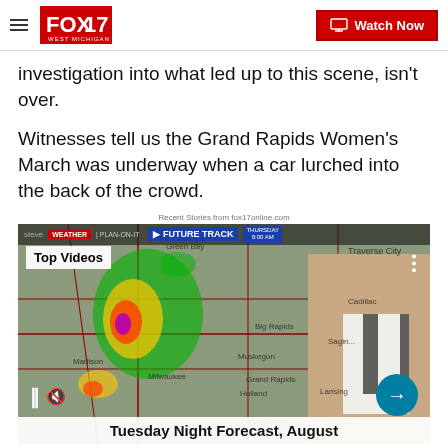FOX 17 WEST MICHIGAN | Watch Now
investigation into what led up to this scene, isn't over.
Witnesses tell us the Grand Rapids Women's March was underway when a car lurched into the back of the crowd.
Recent Stories from fox17online.com
[Figure (screenshot): FOX 17 weather video thumbnail showing a weather map with radar and a female meteorologist presenting. Top Videos overlay label. Bottom title bar reads 'Tuesday Night Forecast, August']